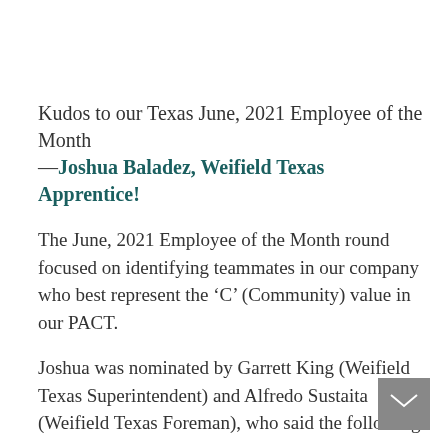Kudos to our Texas June, 2021 Employee of the Month —Joshua Baladez, Weifield Texas Apprentice!
The June, 2021 Employee of the Month round focused on identifying teammates in our company who best represent the ‘C’ (Community) value in our PACT.
Joshua was nominated by Garrett King (Weifield Texas Superintendent) and Alfredo Sustaita (Weifield Texas Foreman), who said the following:
From Garrett/Alfredo: “To be honest, I think Joshua Baladez should win employee of the month for the ‘C’ in our PACT. Because he showed the importance of community...